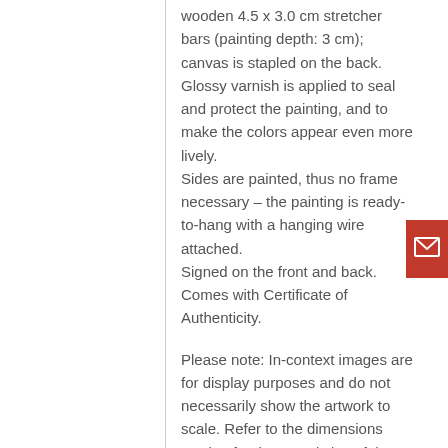wooden 4.5 x 3.0 cm stretcher bars (painting depth: 3 cm); canvas is stapled on the back. Glossy varnish is applied to seal and protect the painting, and to make the colors appear even more lively. Sides are painted, thus no frame necessary – the painting is ready-to-hang with a hanging wire attached. Signed on the front and back. Comes with Certificate of Authenticity.

Please note: In-context images are for display purposes and do not necessarily show the artwork to scale. Refer to the dimensions section for the actual size of the painting. If you would like to see how
[Figure (other): Red square button with a white envelope/email icon]